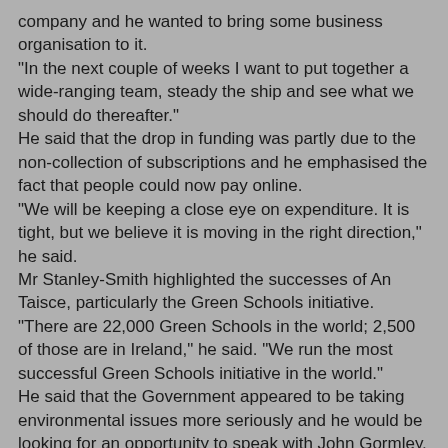company and he wanted to bring some business organisation to it. "In the next couple of weeks I want to put together a wide-ranging team, steady the ship and see what we should do thereafter." He said that the drop in funding was partly due to the non-collection of subscriptions and he emphasised the fact that people could now pay online. "We will be keeping a close eye on expenditure. It is tight, but we believe it is moving in the right direction," he said. Mr Stanley-Smith highlighted the successes of An Taisce, particularly the Green Schools initiative. "There are 22,000 Green Schools in the world; 2,500 of those are in Ireland," he said. "We run the most successful Green Schools initiative in the world." He said that the Government appeared to be taking environmental issues more seriously and he would be looking for an opportunity to speak with John Gormley, the new Minister for the Environment. "We are not here to tell anyone what to do, but we are always hopeful that we can help," he said.